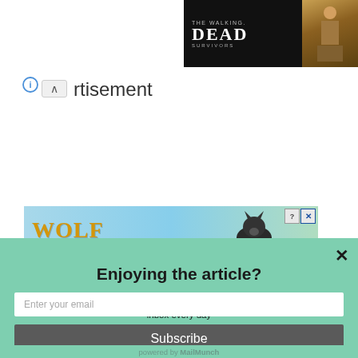[Figure (screenshot): The Walking Dead Survivors game banner advertisement in top right corner]
ⓘ
∧  rtisement
[Figure (screenshot): Wolf advertisement banner with wolf image and golden WOLF text]
[Figure (screenshot): Email subscription modal popup with teal/mint background. Close X button top right. Title: Enjoying the article? Body: Subscribe to get stories like this delivered to your inbox every day. Email input field. Subscribe button. Powered by MailMunch.]